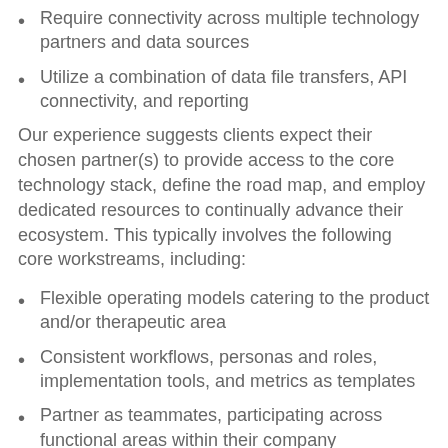Require connectivity across multiple technology partners and data sources
Utilize a combination of data file transfers, API connectivity, and reporting
Our experience suggests clients expect their chosen partner(s) to provide access to the core technology stack, define the road map, and employ dedicated resources to continually advance their ecosystem. This typically involves the following core workstreams, including:
Flexible operating models catering to the product and/or therapeutic area
Consistent workflows, personas and roles, implementation tools, and metrics as templates
Partner as teammates, participating across functional areas within their company
Define and introduce new technologies into their programs
Respond quickly when they want to pilot other technologies of their own choosing